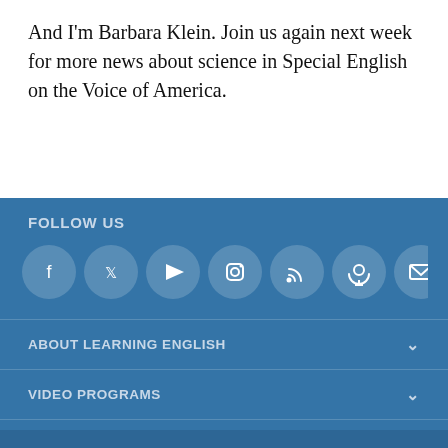And I'm Barbara Klein. Join us again next week for more news about science in Special English on the Voice of America.
FOLLOW US
[Figure (infographic): Row of 7 social media icon circles (Facebook, Twitter, YouTube, Instagram, RSS, Podcast, Email) on blue background]
ABOUT LEARNING ENGLISH
VIDEO PROGRAMS
AUDIO PROGRAMS